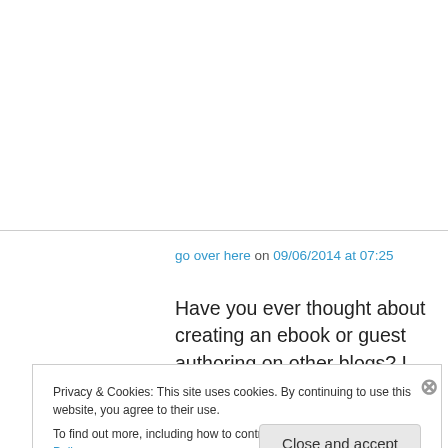go over here on 09/06/2014 at 07:25
Have you ever thought about creating an ebook or guest authoring on other blogs? I have a blog based upon on the same subjects you discuss and would really like to have you share some
Privacy & Cookies: This site uses cookies. By continuing to use this website, you agree to their use.
To find out more, including how to control cookies, see here: Cookie Policy
Close and accept